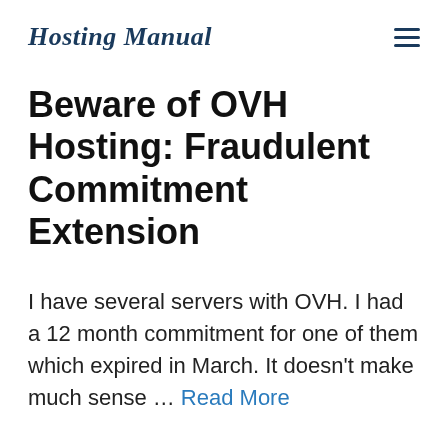Hosting Manual
Beware of OVH Hosting: Fraudulent Commitment Extension
I have several servers with OVH. I had a 12 month commitment for one of them which expired in March. It doesn't make much sense … Read More